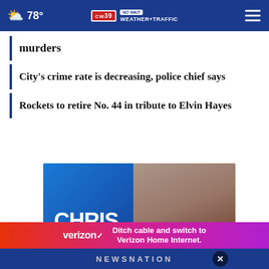78° CW39 NO WAIT WEATHER+TRAFFIC
murders
City's crime rate is decreasing, police chief says
Rockets to retire No. 44 in tribute to Elvin Hayes
[Figure (photo): Advertisement featuring Chris Cuomo with name displayed in large white text on blue background]
[Figure (advertisement): Verizon ad: 'Ditch cable and switch to Verizon Home Internet.']
NEWSNATION